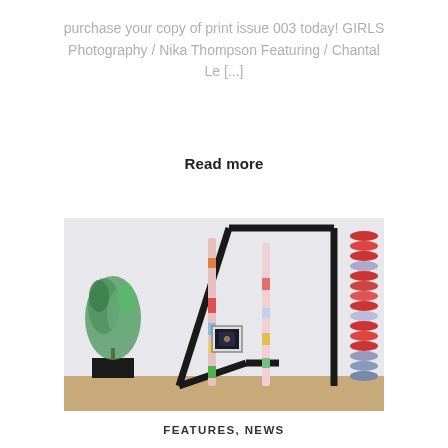purchase your copy of print issue 003 today! GIRLS Photography / Nika Thompson Featuring / Chantal Le [...]
Read more
[Figure (photo): Art gallery installation showing colorful tall sculptural poles leaning against a white wall with large black geometric tape lines forming a house/triangle shape. On the left is a black pedestal with a green leafy plant sculpture. On the right is a tall stack of colorful round objects. A small framed artwork hangs on the wall in the background. The floor is light wood.]
FEATURES, NEWS